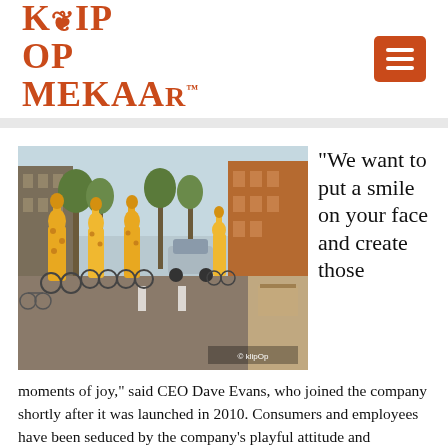[Figure (logo): Klip Op Mekaar Cederberg logo in orange/red decorative serif font with subtitle · CEDERBERG ·]
[Figure (photo): Street photo of cyclists dressed in giraffe costumes riding through a Dutch city street with buildings, trees, and cars in background]
“We want to put a smile on your face and create those moments of joy,” said CEO Dave Evans, who joined the company shortly after it was launched in 2010. Consumers and employees have been seduced by the company’s playful attitude and